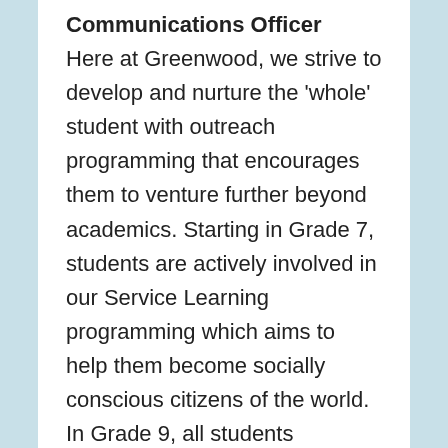Communications Officer Here at Greenwood, we strive to develop and nurture the 'whole' student with outreach programming that encourages them to venture further beyond academics. Starting in Grade 7, students are actively involved in our Service Learning programming which aims to help them become socially conscious citizens of the world. In Grade 9, all students participate in the Youth and Philanthropy Initiative (YPI) which serves as a capstone